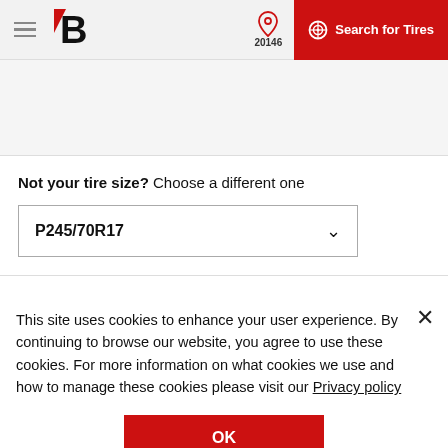Bridgestone header with logo, location 20146, and Search for Tires button
Not your tire size? Choose a different one
P245/70R17
This site uses cookies to enhance your user experience. By continuing to browse our website, you agree to use these cookies. For more information on what cookies we use and how to manage these cookies please visit our Privacy policy
OK